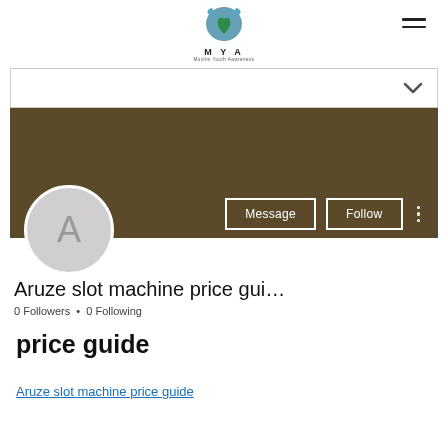[Figure (logo): MYA (Muslim Youth Awareness) logo with teal/green heart icon and text]
[Figure (infographic): Dropdown chevron bar and brown profile banner with Message and Follow buttons, avatar circle with letter A, three-dot menu]
Aruze slot machine price gui…
0 Followers • 0 Following
price guide
Aruze slot machine price guide